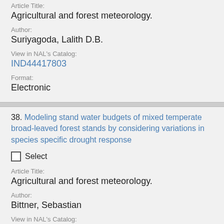Article Title:
Agricultural and forest meteorology.
Author:
Suriyagoda, Lalith D.B.
View in NAL's Catalog:
IND44417803
Format:
Electronic
38. Modeling stand water budgets of mixed temperate broad-leaved forest stands by considering variations in species specific drought response
Select
Article Title:
Agricultural and forest meteorology.
Author:
Bittner, Sebastian
View in NAL's Catalog: